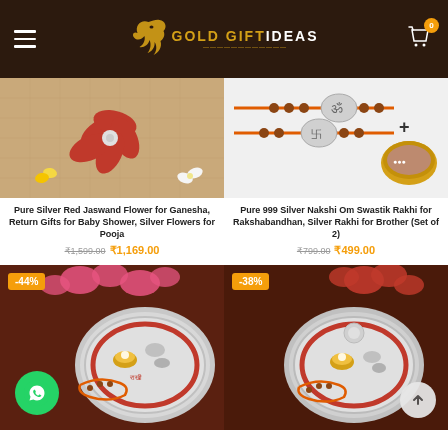Gold Gift Ideas - Navigation Header
[Figure (photo): Pure Silver Red Jaswand Flower on burlap background with white flowers]
Pure Silver Red Jaswand Flower for Ganesha, Return Gifts for Baby Shower, Silver Flowers for Pooja
₹1,599.00 ₹1,169.00
[Figure (photo): Pure 999 Silver Nakshi Om Swastik Rakhi set of 2 with roli kumkum container]
Pure 999 Silver Nakshi Om Swastik Rakhi for Rakshabandhan, Silver Rakhi for Brother (Set of 2)
₹799.00 ₹499.00
[Figure (photo): Silver puja thali with rakhi set, -44% discount badge, pink flowers background]
[Figure (photo): Silver puja thali with rakhi set, -38% discount badge, red flowers background]